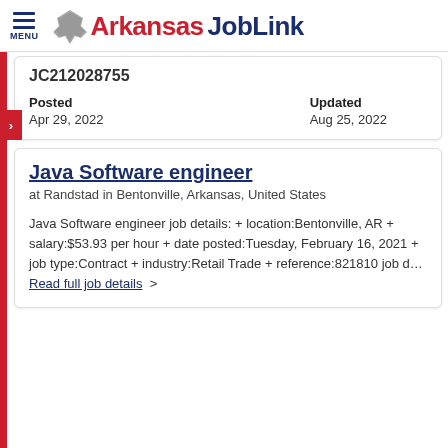Arkansas JobLink
JC212028755
Posted
Apr 29, 2022
Updated
Aug 25, 2022
Java Software engineer
at Randstad in Bentonville, Arkansas, United States
Java Software engineer job details: + location:Bentonville, AR + salary:$53.93 per hour + date posted:Tuesday, February 16, 2021 + job type:Contract + industry:Retail Trade + reference:821810 job d…
Read full job details  >